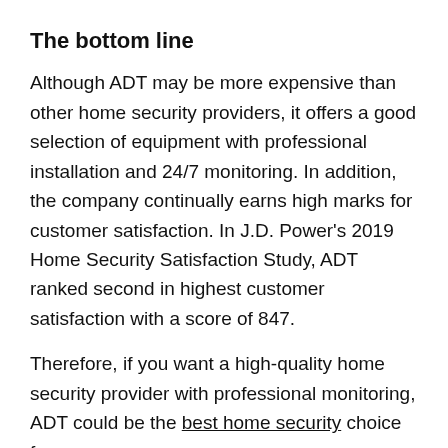The bottom line
Although ADT may be more expensive than other home security providers, it offers a good selection of equipment with professional installation and 24/7 monitoring. In addition, the company continually earns high marks for customer satisfaction. In J.D. Power's 2019 Home Security Satisfaction Study, ADT ranked second in highest customer satisfaction with a score of 847.
Therefore, if you want a high-quality home security provider with professional monitoring, ADT could be the best home security choice for you.
Do I need WiFi for ADT?